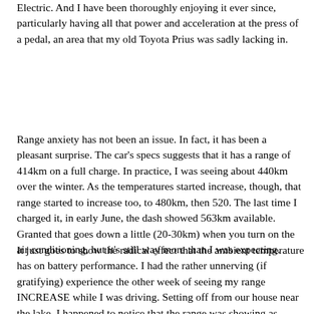Electric. And I have been thoroughly enjoying it ever since, particularly having all that power and acceleration at the press of a pedal, an area that my old Toyota Prius was sadly lacking in.
Range anxiety has not been an issue. In fact, it has been a pleasant surprise. The car's specs suggests that it has a range of 414km on a full charge. In practice, I was seeing about 440km over the winter. As the temperatures started increase, though, that range started to increase too, to 480km, then 520. The last time I charged it, in early June, the dash showed 563km available. Granted that goes down a little (20-30km) when you turn on the air conditioning, but it's still way more than I was expecting.
It just goes to show the radical effect that the ambient temperature has on battery performance. I had the rather unnerving (if gratifying) experience the other week of seeing my range INCREASE while I was driving. Setting off from our house near the lake, I happened to notice that the range was showing as 395km. About 3 or 4km later, I happened to notice that it was at 398km, and a couple of kilometers further on, it was showing 402km available range. What I